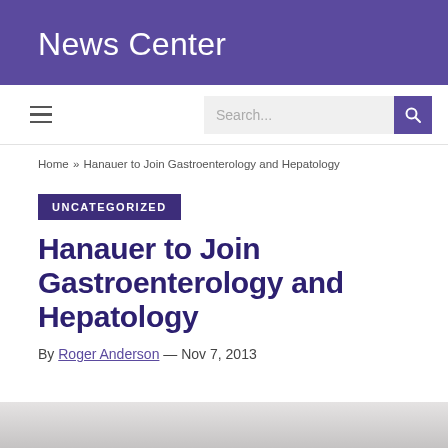News Center
Home » Hanauer to Join Gastroenterology and Hepatology
UNCATEGORIZED
Hanauer to Join Gastroenterology and Hepatology
By Roger Anderson — Nov 7, 2013
[Figure (photo): Partial photo at the bottom of the page, partially cropped]